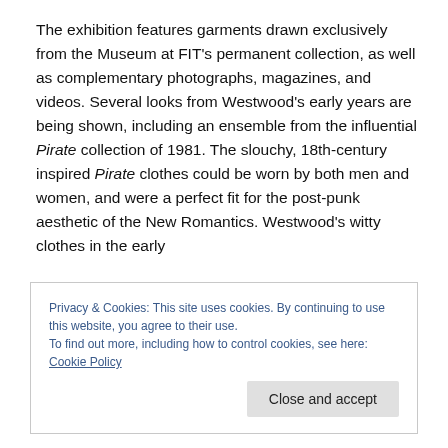The exhibition features garments drawn exclusively from the Museum at FIT's permanent collection, as well as complementary photographs, magazines, and videos. Several looks from Westwood's early years are being shown, including an ensemble from the influential Pirate collection of 1981. The slouchy, 18th-century inspired Pirate clothes could be worn by both men and women, and were a perfect fit for the post-punk aesthetic of the New Romantics. Westwood's witty clothes in the early
Privacy & Cookies: This site uses cookies. By continuing to use this website, you agree to their use. To find out more, including how to control cookies, see here: Cookie Policy
Close and accept